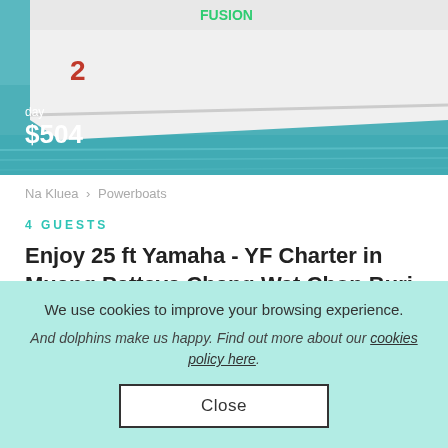[Figure (photo): Top portion of a white powerboat on turquoise water, with 'day $504' price overlay in white text]
day
$504
Na Kluea > Powerboats
4 GUESTS
Enjoy 25 ft Yamaha - YF Charter in Muang Pattaya Chang Wat Chon Buri
[Figure (photo): Bottom portion of a white powerboat against blue sky, showing chrome/metal railing hardware]
We use cookies to improve your browsing experience.
And dolphins make us happy. Find out more about our cookies policy here.
Close